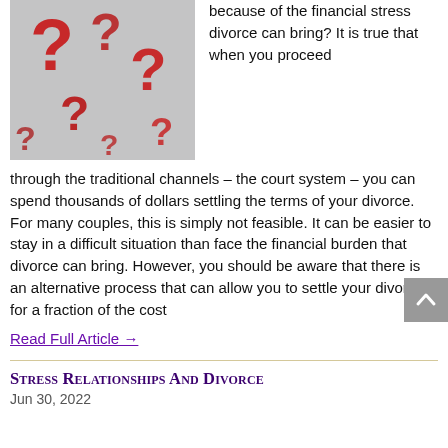[Figure (photo): Photo of red 3D question mark symbols scattered on a light surface]
because of the financial stress divorce can bring? It is true that when you proceed through the traditional channels – the court system – you can spend thousands of dollars settling the terms of your divorce. For many couples, this is simply not feasible. It can be easier to stay in a difficult situation than face the financial burden that divorce can bring. However, you should be aware that there is an alternative process that can allow you to settle your divorce for a fraction of the cost
Read Full Article →
Stress Relationships And Divorce
Jun 30, 2022